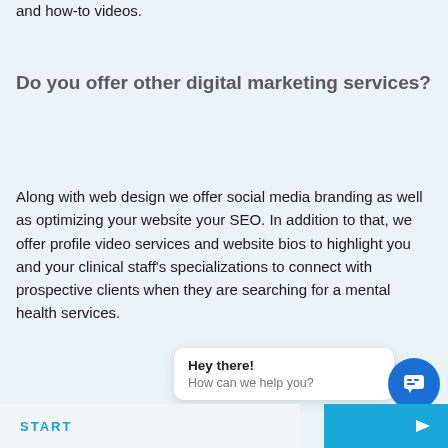and how-to videos.
Do you offer other digital marketing services?
Along with web design we offer social media branding as well as optimizing your website your SEO. In addition to that, we offer profile video services and website bios to highlight you and your clinical staff's specializations to connect with prospective clients when they are searching for a mental health services.